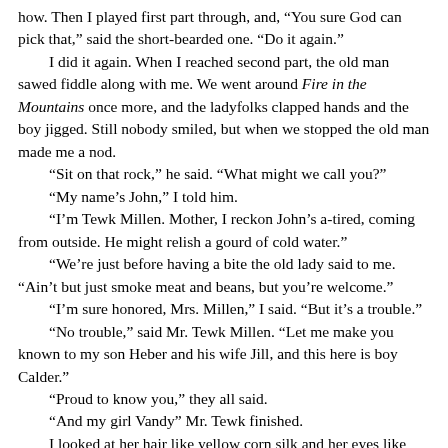how. Then I played first part through, and, "You sure God can pick that," said the short-bearded one. "Do it again."

I did it again. When I reached second part, the old man sawed fiddle along with me. We went around Fire in the Mountains once more, and the ladyfolks clapped hands and the boy jigged. Still nobody smiled, but when we stopped the old man made me a nod.

"Sit on that rock," he said. "What might we call you?"

"My name's John," I told him.

"I'm Tewk Millen. Mother, I reckon John's a-tired, coming from outside. He might relish a gourd of cold water."

"We're just before having a bite the old lady said to me. "Ain't but just smoke meat and beans, but you're welcome."

"I'm sure honored, Mrs. Millen," I said. "But it's a trouble."

"No trouble," said Mr. Tewk Millen. "Let me make you known to my son Heber and his wife Jill, and this here is boy Calder."

"Proud to know you," they all said.

"And my girl Vandy" Mr. Tewk finished.

I looked at her hair like yellow corn silk and her eyes like purple violets. "Vandy?" I said after her father.

Shy, she dimpled at me. "I know it's a scarce name, Mr. John, I never heard it anywhere but among my kinfolks."

"I have," I said, "and it's what brought me here."

Mr. Tewk Millen looked funny above his whiskers. "Thought